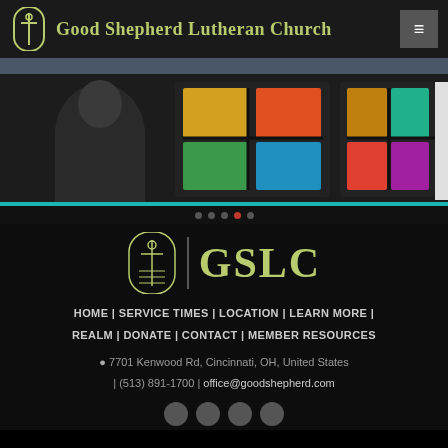Good Shepherd Lutheran Church
[Figure (photo): Person viewed from behind looking at colorful stained glass windows in a church]
[Figure (logo): GSLC logo with church icon and text GSLC]
HOME | SERVICE TIMES | LOCATION | LEARN MORE | REALM | DONATE | CONTACT | MEMBER RESOURCES
7701 Kenwood Rd, Cincinnati, OH, United States | (513) 891-1700 | office@goodshepherd.com